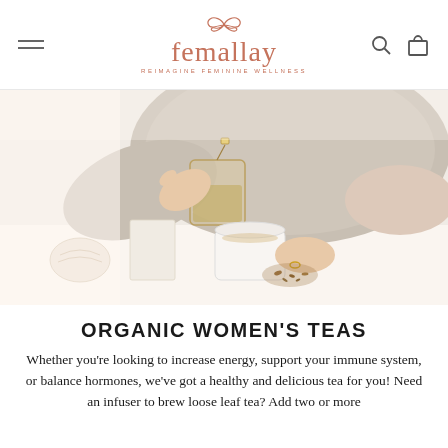femallay — REIMAGINE FEMININE WELLNESS
[Figure (photo): A woman in a chunky knit sweater holding a glass cup of herbal tea with a tea bag tag hanging, a white mug below, loose tea leaves and a seashell on a white surface.]
ORGANIC WOMEN'S TEAS
Whether you're looking to increase energy, support your immune system, or balance hormones, we've got a healthy and delicious tea for you! Need an infuser to brew loose leaf tea? Add two or more